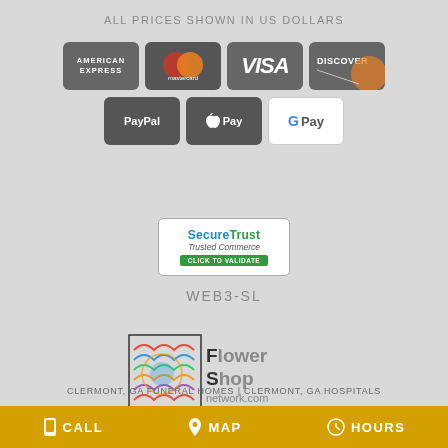ALL PRICES SHOWN IN US DOLLARS
[Figure (logo): Payment method icons: American Express, Mastercard, Visa, Discover, PayPal, Apple Pay, Google Pay]
[Figure (logo): SecureTrust Trusted Commerce badge with CLICK TO VALIDATE text]
WEB3-SL
[Figure (logo): Flower Shop Network .com logo]
CLERMONT, GA FUNERAL HOMES | CLERMONT, GA HOSPITALS
CALL  MAP  HOURS